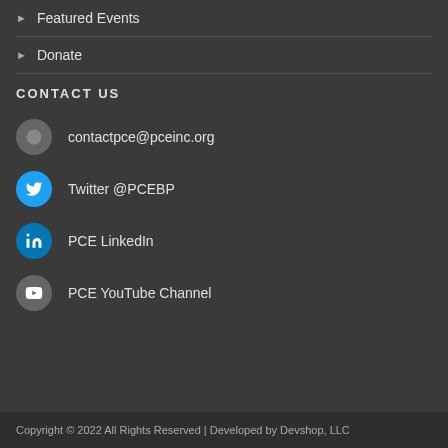Featured Events
Donate
CONTACT US
contactpce@pceinc.org
Twitter @PCEBP
PCE LinkedIn
PCE YouTube Channel
Copyright © 2022 All Rights Reserved | Developed by Devshop, LLC